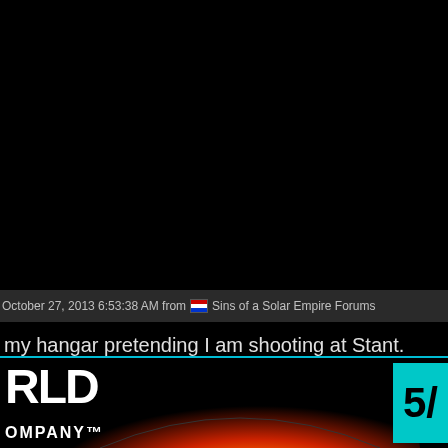October 27, 2013 6:53:38 AM from [icon] Sins of a Solar Empire Forums
my hangar pretending I am shooting at Stant.
O many times.
[Figure (screenshot): Bottom banner showing partial text 'RLD' and 'OMPANY' with a glowing planet/star image in the center and a teal badge showing '5/' on the right]